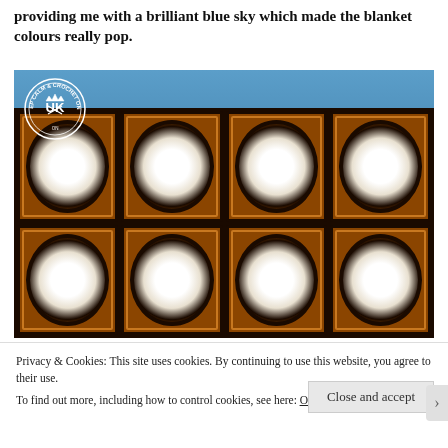providing me with a brilliant blue sky which made the blanket colours really pop.
[Figure (photo): A crocheted granny square blanket in brown, orange, black and white, displayed against a blue sky background. A 'Keep Calm & Crochet On UK' logo appears in the top-left corner of the photo.]
Privacy & Cookies: This site uses cookies. By continuing to use this website, you agree to their use.
To find out more, including how to control cookies, see here: Our Cookie Policy
Close and accept